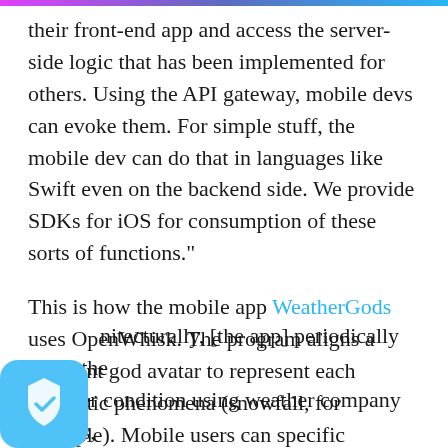their front-end app and access the server-side logic that has been implemented for others. Using the API gateway, mobile devs can evoke them. For simple stuff, the mobile dev can do that in languages like Swift even on the backend side. We provide SDKs for iOS for consumption of these sorts of functions."
This is how the mobile app WeatherGods uses OpenWhisk. The program aligns a different god avatar to represent each climactic phenomena (snowfall, for example). Mobile users can specific weather events they are interested in, like being notified when there is snow in Berlin.
Architecturally, [the app] periodically scans the weather condition using weather company servers,